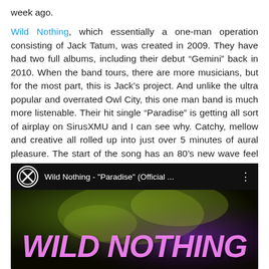week ago.
Wild Nothing, which essentially a one-man operation consisting of Jack Tatum, was created in 2009. They have had two full albums, including their debut “Gemini” back in 2010. When the band tours, there are more musicians, but for the most part, this is Jack’s project. And unlike the ultra popular and overrated Owl City, this one man band is much more listenable. Their hit single “Paradise” is getting all sort of airplay on SirusXMU and I can see why. Catchy, mellow and creative all rolled up into just over 5 minutes of aural pleasure. The start of the song has an 80’s new wave feel to it, with bits of New Order, Human League and a twinge of that Nile Rodgers guitar riff.
[Figure (screenshot): YouTube video embed showing Wild Nothing - "Paradise" (Official ... with the Wild Nothing logo text over a dark colorful background thumbnail]